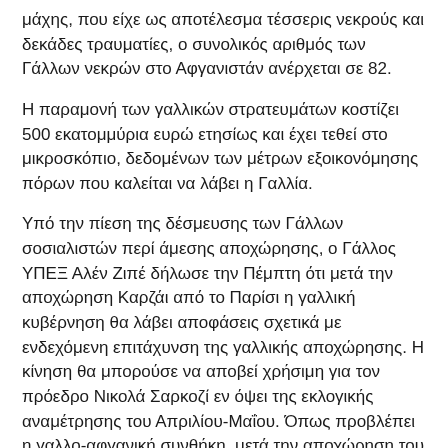μάχης, που είχε ως αποτέλεσμα τέσσερις νεκρούς και δεκάδες τραυματίες, ο συνολικός αριθμός των Γάλλων νεκρών στο Αφγανιστάν ανέρχεται σε 82.
Η παραμονή των γαλλικών στρατευμάτων κοστίζει 500 εκατομμύρια ευρώ ετησίως και έχει τεθεί στο μικροσκόπιο, δεδομένων των μέτρων εξοικονόμησης πόρων που καλείται να λάβει η Γαλλία.
Υπό την πίεση της δέσμευσης των Γάλλων σοσιαλιστών περί άμεσης αποχώρησης, ο Γάλλος ΥΠΕΞ Αλέν Ζιπέ δήλωσε την Πέμπτη ότι μετά την αποχώρηση Καρζάι από το Παρίσι η γαλλική κυβέρνηση θα λάβει αποφάσεις σχετικά με ενδεχόμενη επιτάχυνση της γαλλικής αποχώρησης. Η κίνηση θα μπορούσε να αποβεί χρήσιμη για τον πρόεδρο Νικολά Σαρκοζί εν όψει της εκλογικής αναμέτρησης του Απριλίου-Μαΐου. Όπως προβλέπει η γαλλο-αφγανική συνθήκη, μετά την αποχώρηση του μεγάλου όγκου των δυνάμεων θα παραμείνουν στο Αφγανιστάν Γάλλοι εκπαιδευτές προς ενίσχυση του στρατού και των δυνάμεων ασφαλείας.